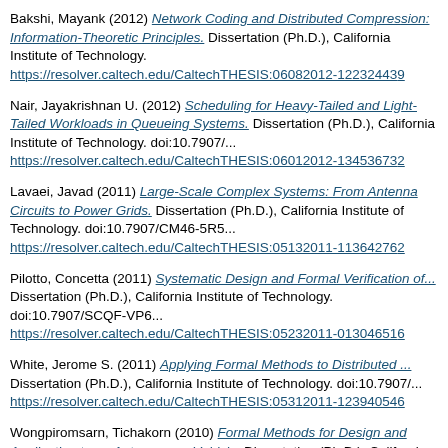Bakshi, Mayank (2012) Network Coding and Distributed Compression: Information-Theoretic Principles. Dissertation (Ph.D.), California Institute of Technology. https://resolver.caltech.edu/CaltechTHESIS:06082012-122324439
Nair, Jayakrishnan U. (2012) Scheduling for Heavy-Tailed and Light-Tailed Workloads in Queueing Systems. Dissertation (Ph.D.), California Institute of Technology. doi:10.7907/... https://resolver.caltech.edu/CaltechTHESIS:06012012-134536732
Lavaei, Javad (2011) Large-Scale Complex Systems: From Antenna Circuits to Power Grids. Dissertation (Ph.D.), California Institute of Technology. doi:10.7907/CM46-5R5... https://resolver.caltech.edu/CaltechTHESIS:05132011-113642762
Pilotto, Concetta (2011) Systematic Design and Formal Verification of... Dissertation (Ph.D.), California Institute of Technology. doi:10.7907/SCQF-VP6... https://resolver.caltech.edu/CaltechTHESIS:05232011-013046516
White, Jerome S. (2011) Applying Formal Methods to Distributed... Dissertation (Ph.D.), California Institute of Technology. doi:10.790... https://resolver.caltech.edu/CaltechTHESIS:05312011-123940546
Wongpiromsarn, Tichakorn (2010) Formal Methods for Design and Verification with Application to an Autonomous Vehicle. Dissertation (Ph.D.), California Institute of Technology. doi:10.7907/XZ3X-7V51. https://resolver.caltech.edu/CaltechTHE...
Braman, Julia Marie Badger (2009) Safety Verification and Failure Analysis of Goal-Based Control Systems. Dissertation (Ph.D.), California Institute of Technology. https://resolver.caltech.edu/CaltechETD:etd-05292009-111937